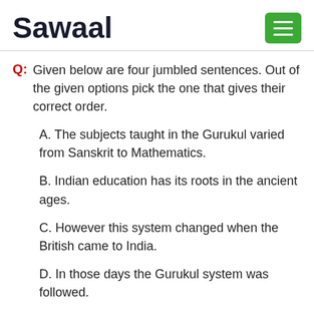Sawaal
Q: Given below are four jumbled sentences. Out of the given options pick the one that gives their correct order.
A. The subjects taught in the Gurukul varied from Sanskrit to Mathematics.
B. Indian education has its roots in the ancient ages.
C. However this system changed when the British came to India.
D. In those days the Gurukul system was followed.